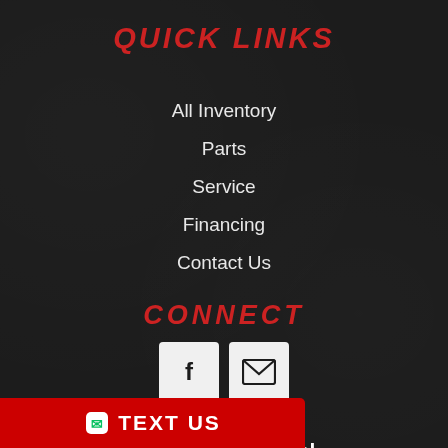QUICK LINKS
All Inventory
Parts
Service
Financing
Contact Us
CONNECT
[Figure (logo): Facebook icon button (white square with F logo) and email/envelope icon button (white square with envelope logo)]
[Figure (logo): TrailerCentral.com logo with swoosh graphic and red/white text]
Trailer Dealer Website by Trailer Central
XML Site Map
TEXT US